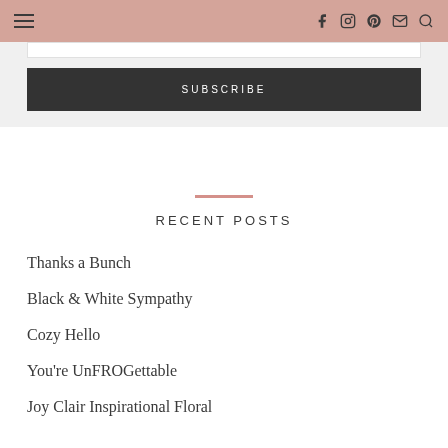Navigation bar with hamburger menu and social icons
SUBSCRIBE
RECENT POSTS
Thanks a Bunch
Black & White Sympathy
Cozy Hello
You're UnFROGettable
Joy Clair Inspirational Floral